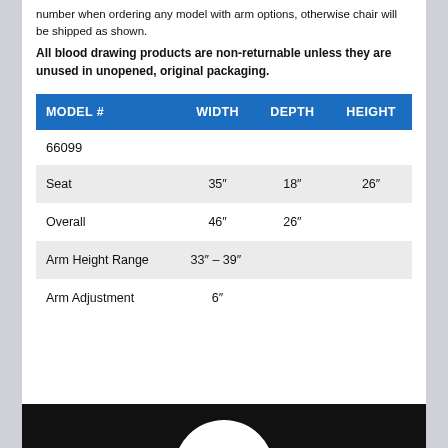number when ordering any model with arm options, otherwise chair will be shipped as shown.
All blood drawing products are non-returnable unless they are unused in unopened, original packaging.
| MODEL # | WIDTH | DEPTH | HEIGHT |
| --- | --- | --- | --- |
| 66099 |  |  |  |
| Seat | 35" | 18" | 26" |
| Overall | 46" | 26" |  |
| Arm Height Range | 33" – 39" |  |  |
| Arm Adjustment | 6" |  |  |
[Figure (photo): Black background with partial white circular element at bottom of page]